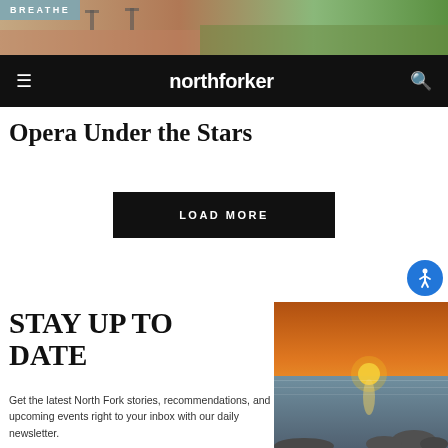[Figure (photo): Outdoor photo showing brick patio and green grass, with BREATHE badge overlay]
northforker
Opera Under the Stars
LOAD MORE
[Figure (photo): Sunset over water with rocks in foreground, warm orange sky]
STAY UP TO DATE
Get the latest North Fork stories, recommendations, and upcoming events right to your inbox with our daily newsletter.